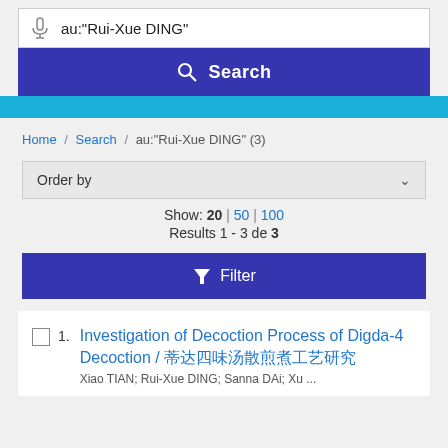[Figure (screenshot): Search bar with microphone icon and query au:"Rui-Xue DING"]
[Figure (screenshot): Blue Search button with magnifying glass icon]
[Figure (screenshot): Cyan horizontal bar]
Home / Search / au:"Rui-Xue DING" (3)
[Figure (screenshot): Order by dropdown selector]
Show: 20 | 50 | 100
Results 1 - 3 de 3
[Figure (screenshot): Filter button with funnel icon]
1. Investigation of Decoction Process of Digda-4 Decoction / 蒂达四味汤散煎煮工艺研究
Xiao TIAN; Rui-Xue DING; Sanna DAi; Xu ...